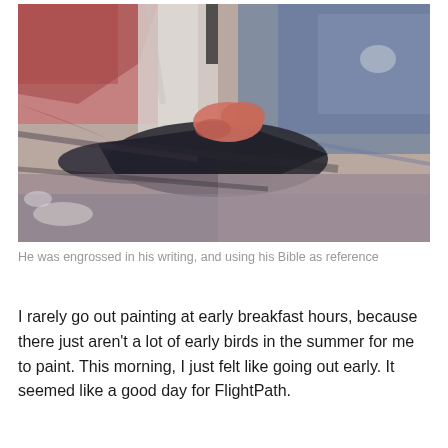[Figure (illustration): An impressionistic oil painting showing a person engrossed in writing, with a Bible used as reference. The painting uses muted tones of red, dark grey, blue-grey, and dusty pink, with loose expressive brushstrokes.]
He was engrossed in his writing, and using his Bible as reference
I rarely go out painting at early breakfast hours, because there just aren't a lot of early birds in the summer for me to paint. This morning, I just felt like going out early. It seemed like a good day for FlightPath.